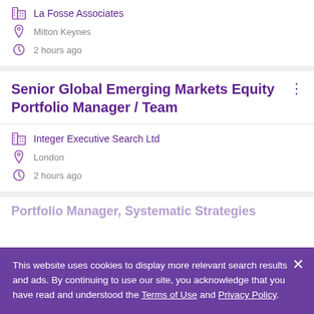La Fosse Associates
Milton Keynes
2 hours ago
Senior Global Emerging Markets Equity Portfolio Manager / Team
Integer Executive Search Ltd
London
2 hours ago
Portfolio Manager, Systematic Strategies
This website uses cookies to display more relevant search results and ads. By continuing to use our site, you acknowledge that you have read and understood the Terms of Use and Privacy Policy.